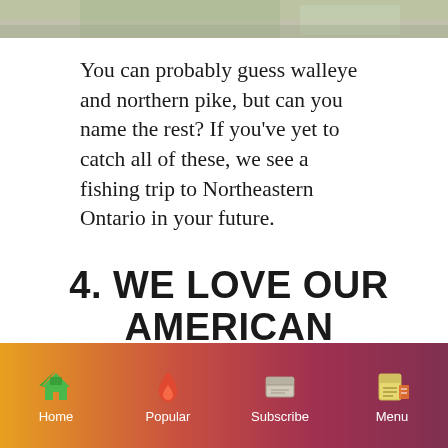[Figure (photo): Partial photo strip at top of page showing food or fish dish]
You can probably guess walleye and northern pike, but can you name the rest? If you've yet to catch all of these, we see a fishing trip to Northeastern Ontario in your future.
4. WE LOVE OUR AMERICAN VISITORS, WHO RETURN HERE YEAR AFTER YEAR.
Home | Popular | Subscribe | Menu